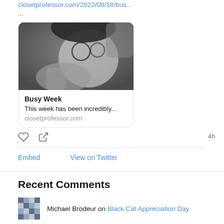closetprofessor.com/2022/08/18/bus...
...
[Figure (photo): Black and white photo of a man with round glasses resting his chin on his hands, looking upward. Card includes title 'Busy Week', description 'This week has been incredibly...', and domain 'closetprofessor.com']
4h
Embed
View on Twitter
Recent Comments
Michael Brodeur on Black Cat Appreciation Day